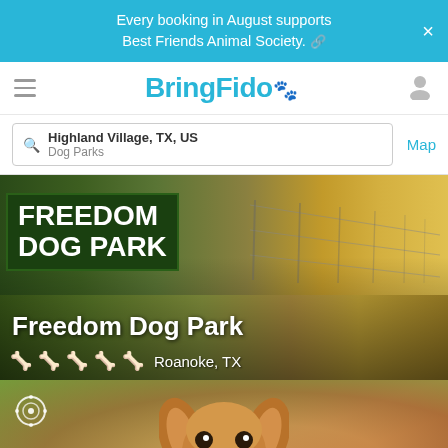Every booking in August supports Best Friends Animal Society. ×
BringFido
Highland Village, TX, US — Dog Parks — Map
[Figure (photo): Outdoor dog park at sunset showing a green sign reading FREEDOM DOG PARK with chain-link fence extending into the distance and golden light on the right]
Freedom Dog Park
Roanoke, TX
[Figure (photo): Close-up photo of a golden/brown Cavalier King Charles Spaniel dog face with tongue out, blurred green background]